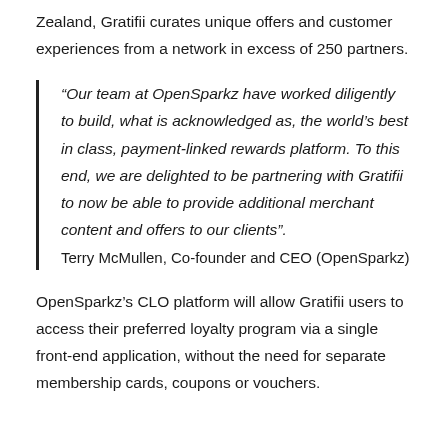Zealand, Gratifii curates unique offers and customer experiences from a network in excess of 250 partners.
“Our team at OpenSparkz have worked diligently to build, what is acknowledged as, the world’s best in class, payment-linked rewards platform. To this end, we are delighted to be partnering with Gratifii to now be able to provide additional merchant content and offers to our clients”. Terry McMullen, Co-founder and CEO (OpenSparkz)
OpenSparkz’s CLO platform will allow Gratifii users to access their preferred loyalty program via a single front-end application, without the need for separate membership cards, coupons or vouchers.